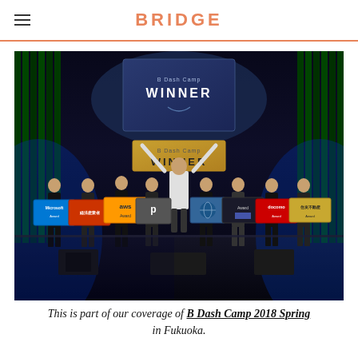BRIDGE
[Figure (photo): Stage photo from B Dash Camp 2018 Spring in Fukuoka. A winner stands center stage with arms raised holding a 'WINNER' sign, surrounded by women holding sponsor award placards including Microsoft Award, AWS, docomo, and others. A 'WINNER' display is shown on the screen behind them, with green curtain columns and blue lighting on either side.]
This is part of our coverage of B Dash Camp 2018 Spring in Fukuoka.